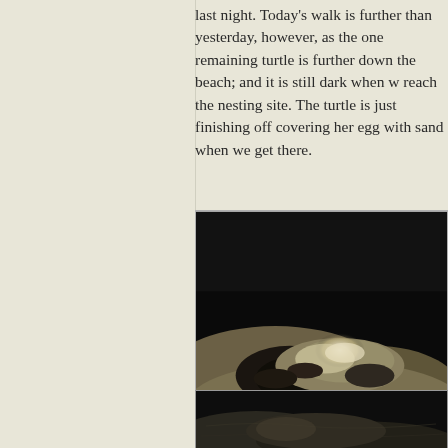last night. Today's walk is further than yesterday, however, as the one remaining turtle is further down the beach; and it is still dark when we reach the nesting site. The turtle is just finishing off covering her eggs with sand when we get there.
[Figure (photo): Night-time photograph of a sea turtle nesting site on a dark beach. A sandy mound is illuminated by a torch/flashlight, revealing disturbed sand where the turtle has been covering her eggs. The scene is very dark with only the lit sandy area visible.]
[Figure (photo): Second night-time photograph of a beach nesting site, darker and showing sandy terrain in low light conditions.]